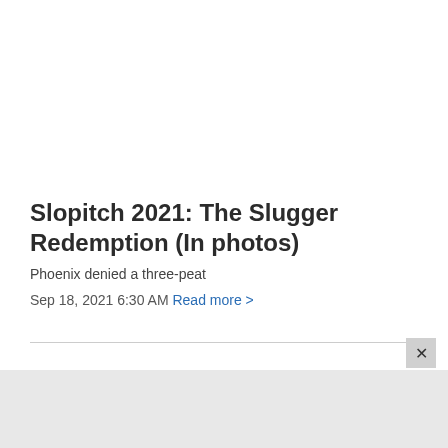Slopitch 2021: The Slugger Redemption (In photos)
Phoenix denied a three-peat
Sep 18, 2021 6:30 AM Read more >